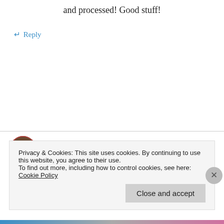and processed! Good stuff!
↵ Reply
LensScaper on November 14, 2011 at 9:13 am
👍 0 👎 0 ℹ Rate This
You and me sound like we're on the same
Privacy & Cookies: This site uses cookies. By continuing to use this website, you agree to their use.
To find out more, including how to control cookies, see here: Cookie Policy
Close and accept